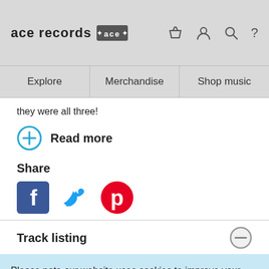ace records [ace logo] — icons: basket, user, search, help
Explore | Merchandise | Shop music
they were all three!
Read more
Share
[Figure (infographic): Social share icons: Facebook (blue square with f), Twitter (blue bird), Pinterest (red circle with P)]
Track listing
Please note our website uses cookies to improve your experience. I understand. For more information see our Privacy Notice & Cookie Policy.